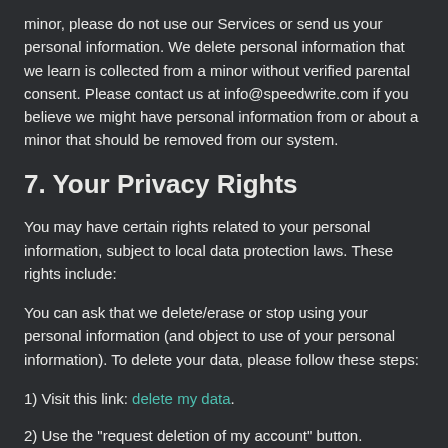minor, please do not use our Services or send us your personal information. We delete personal information that we learn is collected from a minor without verified parental consent. Please contact us at info@speedwrite.com if you believe we might have personal information from or about a minor that should be removed from our system.
7. Your Privacy Rights
You may have certain rights related to your personal information, subject to local data protection laws. These rights include:
You can ask that we delete/erase or stop using your personal information (and object to use of your personal information). To delete your data, please follow these steps:
1) Visit this link: delete my data.
2) Use the "request deletion of my account" button.
Where we rely on your consent to process your personal